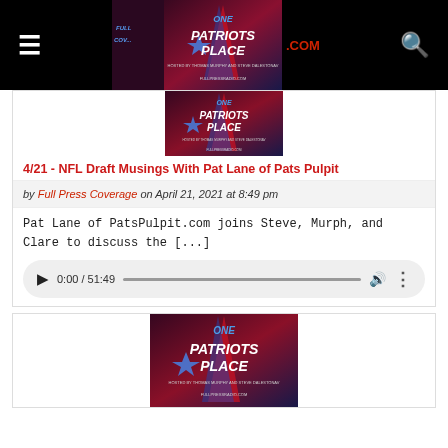One Patriots Place podcast website header with hamburger menu, logo, and search icon
[Figure (screenshot): One Patriots Place podcast thumbnail showing red/blue logo on dark background]
4/21 - NFL Draft Musings With Pat Lane of Pats Pulpit
by Full Press Coverage on April 21, 2021 at 8:49 pm
Pat Lane of PatsPulpit.com joins Steve, Murph, and Clare to discuss the [...]
[Figure (screenshot): Audio player showing 0:00 / 51:49 with play button, progress bar, volume and more icons]
[Figure (screenshot): Second One Patriots Place podcast thumbnail showing red/blue logo on dark background]